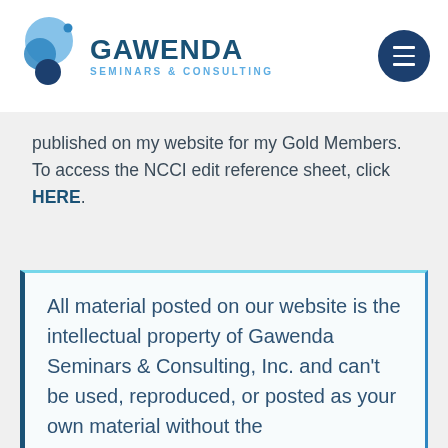GAWENDA SEMINARS & CONSULTING
published on my website for my Gold Members. To access the NCCI edit reference sheet, click HERE.
All material posted on our website is the intellectual property of Gawenda Seminars & Consulting, Inc. and can't be used, reproduced, or posted as your own material without the